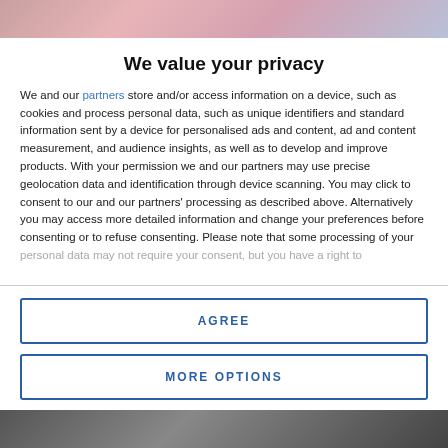[Figure (photo): Partial photo visible at top of page, colorful blurred background]
We value your privacy
We and our partners store and/or access information on a device, such as cookies and process personal data, such as unique identifiers and standard information sent by a device for personalised ads and content, ad and content measurement, and audience insights, as well as to develop and improve products. With your permission we and our partners may use precise geolocation data and identification through device scanning. You may click to consent to our and our partners' processing as described above. Alternatively you may access more detailed information and change your preferences before consenting or to refuse consenting. Please note that some processing of your personal data may not require your consent, but you have a right to
AGREE
MORE OPTIONS
[Figure (photo): Partial photo visible at bottom of page]